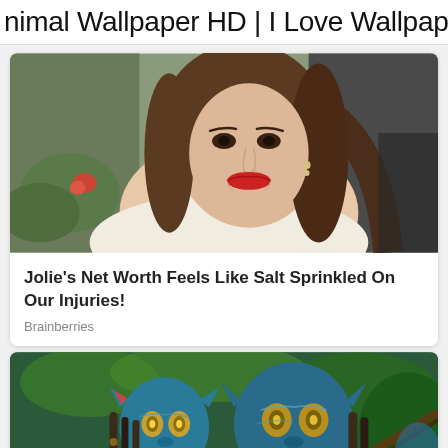nimal Wallpaper HD | I Love Wallpap
[Figure (photo): Portrait photo of Angelina Jolie smiling, wearing a cream jacket, with long brown hair and red lipstick.]
Jolie's Net Worth Feels Like Salt Sprinkled On Our Injuries!
Brainberries
[Figure (photo): Scene from Avatar movie showing two blue Na'vi characters with yellow eyes and braided hair against a green jungle background.]